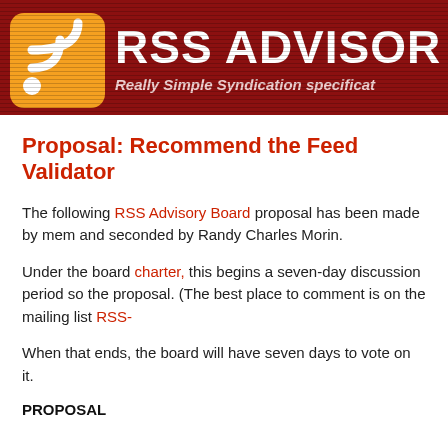[Figure (logo): RSS Advisory Board header banner with orange RSS icon on dark red background, showing 'RSS ADVISOR' text and subtitle 'Really Simple Syndication specificat']
Proposal: Recommend the Feed Validator
The following RSS Advisory Board proposal has been made by mem and seconded by Randy Charles Morin.
Under the board charter, this begins a seven-day discussion period so the proposal. (The best place to comment is on the mailing list RSS-
When that ends, the board will have seven days to vote on it.
PROPOSAL